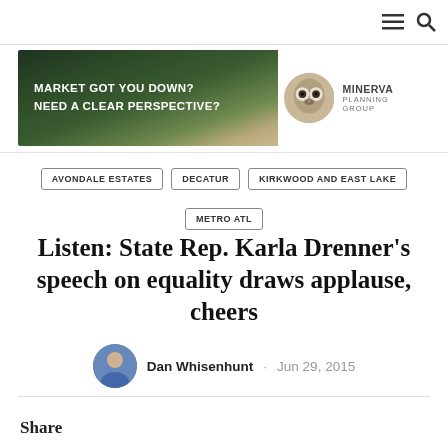Navigation bar with hamburger menu and search icons
[Figure (illustration): Banner advertisement: 'MARKET GOT YOU DOWN? NEED A CLEAR PERSPECTIVE?' with forest road background on left, Minerva Planning Group owl logo on right with white background]
AVONDALE ESTATES
DECATUR
KIRKWOOD AND EAST LAKE
METRO ATL
Listen: State Rep. Karla Drenner’s speech on equality draws applause, cheers
Dan Whisenhunt · Jun 29, 2015
Share